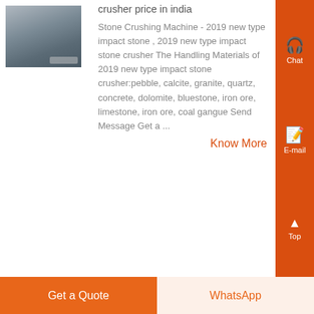[Figure (photo): A stone crushing facility or quarry site in misty/foggy mountain landscape]
crusher price in india
Stone Crushing Machine - 2019 new type impact stone , 2019 new type impact stone crusher The Handling Materials of 2019 new type impact stone crusher:pebble, calcite, granite, quartz, concrete, dolomite, bluestone, iron ore, limestone, iron ore, coal gangue Send Message Get a ...
Know More
[Figure (photo): A stone crushing or industrial facility, grayscale thumbnail]
2020 new type dolomite impact
Get a Quote
WhatsApp